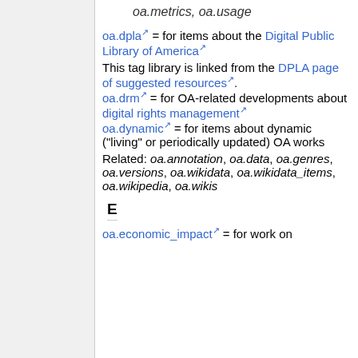oa.metrics, oa.usage
oa.dpla = for items about the Digital Public Library of America
This tag library is linked from the DPLA page of suggested resources.
oa.drm = for OA-related developments about digital rights management
oa.dynamic = for items about dynamic ("living" or periodically updated) OA works
Related: oa.annotation, oa.data, oa.genres, oa.versions, oa.wikidata, oa.wikidata_items, oa.wikipedia, oa.wikis
E
oa.economic_impact = for work on